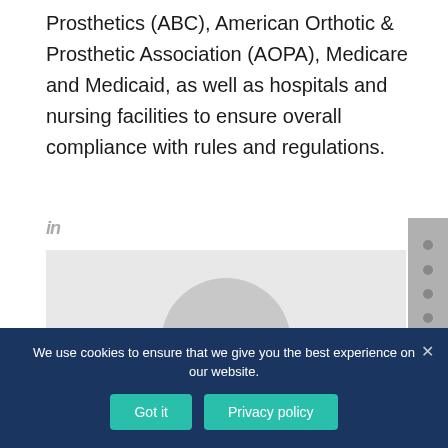Prosthetics (ABC), American Orthotic & Prosthetic Association (AOPA), Medicare and Medicaid, as well as hospitals and nursing facilities to ensure overall compliance with rules and regulations.
[Figure (illustration): LinkedIn icon (stylized 'in' text) and a placeholder profile image box with a grey circle representing a person's silhouette]
We use cookies to ensure that we give you the best experience on our website.
Got it | Privacy policy